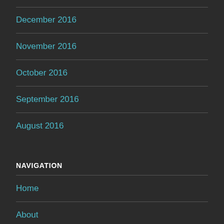December 2016
November 2016
October 2016
September 2016
August 2016
NAVIGATION
Home
About